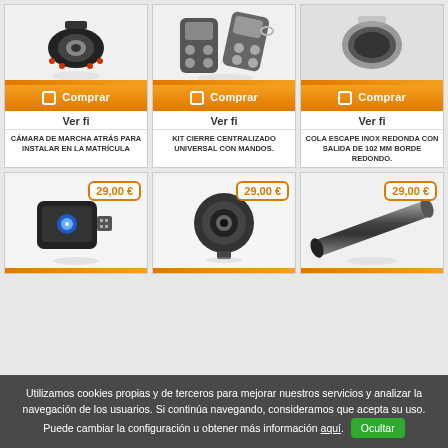[Figure (photo): Product image: rear camera for license plate]
[Figure (photo): Product image: key fob remote controls for centralized lock kit]
[Figure (photo): Product image: stainless steel round exhaust tip 102mm]
Comprar
Comprar
Comprar
Ver fi
Ver fi
Ver fi
CÁMARA DE MARCHA ATRÁS PARA INSTALAR EN LA MATRÍCULA
KIT CIERRE CENTRALIZADO UNIVERSAL CON MANDOS.
COLA ESCAPE INOX REDONDA CON SALIDA DE 102 MM BORDE REDONDO.
[Figure (photo): Product image: OBD device with blue light, price 29,00 €]
[Figure (photo): Product image: round black camera, price 29,00 €]
[Figure (photo): Product image: exhaust pipe tube, price 29,00 €]
Utilizamos cookies propias y de terceros para mejorar nuestros servicios y analizar la navegación de los usuarios. Si continúa navegando, consideramos que acepta su uso. Puede cambiar la configuración u obtener más información aquí. Ocultar